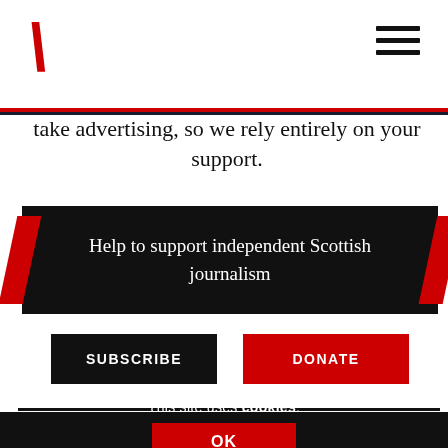take advertising, so we rely entirely on your support.
Help to support independent Scottish journalism
SUBSCRIBE
DONATE
This site uses cookies.
OK